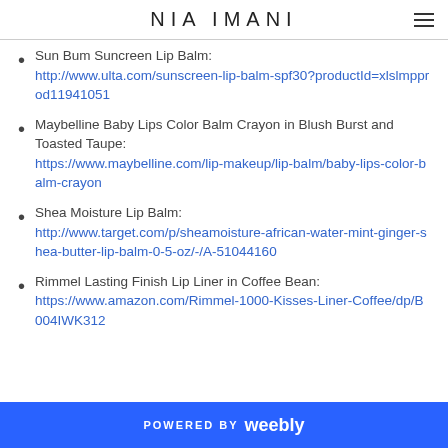NIA IMANI
Sun Bum Suncreen Lip Balm: http://www.ulta.com/sunscreen-lip-balm-spf30?productId=xlslmpprod11941051
Maybelline Baby Lips Color Balm Crayon in Blush Burst and Toasted Taupe: https://www.maybelline.com/lip-makeup/lip-balm/baby-lips-color-balm-crayon
Shea Moisture Lip Balm: http://www.target.com/p/sheamoisture-african-water-mint-ginger-shea-butter-lip-balm-0-5-oz/-/A-51044160
Rimmel Lasting Finish Lip Liner in Coffee Bean: https://www.amazon.com/Rimmel-1000-Kisses-Liner-Coffee/dp/B004IWK312
POWERED BY weebly